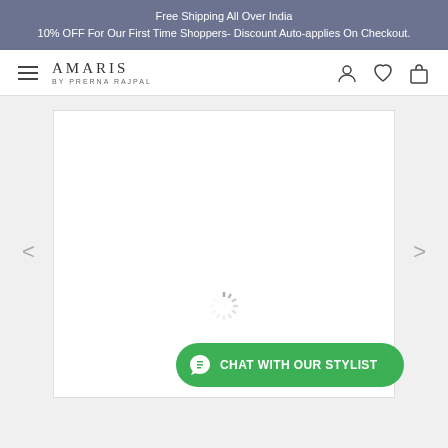Free Shipping All Over India
10% OFF For Our First Time Shoppers- Discount Auto-applies On Checkout.
[Figure (screenshot): Amaris by Prerna Rajpal e-commerce website navigation bar with hamburger menu, brand logo, user account icon, wishlist heart icon, and shopping bag icon]
[Figure (screenshot): Product image area with white card, loading spinner, left and right carousel navigation arrows, and a green WhatsApp chat button labeled CHAT WITH OUR STYLIST]